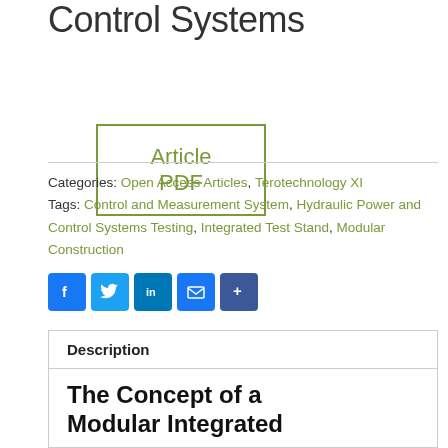Control Systems
Article PDF
Categories: Open Access Articles, Terotechnology XI
Tags: Control and Measurement System, Hydraulic Power and Control Systems Testing, Integrated Test Stand, Modular Construction
[Figure (other): Social sharing buttons: Facebook, Twitter, LinkedIn, Email, Share]
Description
The Concept of a Modular Integrated